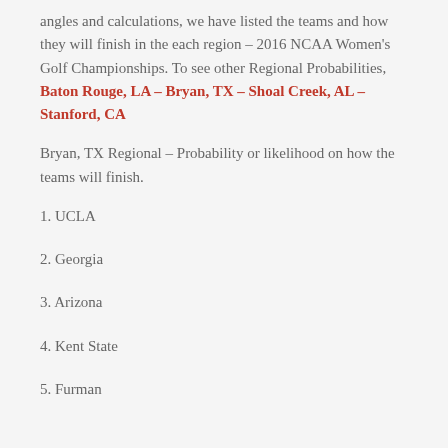angles and calculations, we have listed the teams and how they will finish in the each region – 2016 NCAA Women's Golf Championships. To see other Regional Probabilities, Baton Rouge, LA – Bryan, TX – Shoal Creek, AL – Stanford, CA
Bryan, TX Regional – Probability or likelihood on how the teams will finish.
1. UCLA
2. Georgia
3. Arizona
4. Kent State
5. Furman